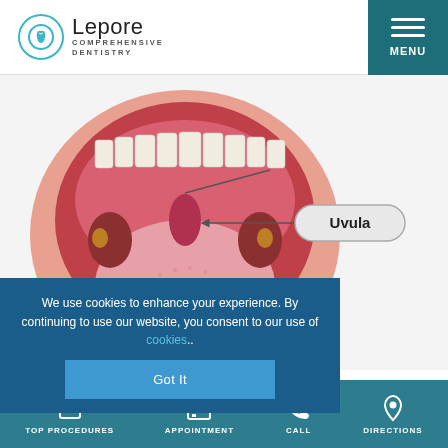[Figure (logo): Lepore Comprehensive Dentistry logo with circular tooth icon]
[Figure (illustration): Open mouth anatomical illustration showing teeth, tongue, and uvula with label arrow pointing to the uvula]
We use cookies to enhance your experience. By continuing to use our website, you consent to our use of cookies..
Got It
TOP PROCEDURES  APPOINTMENT  CALL  DIRECTIONS